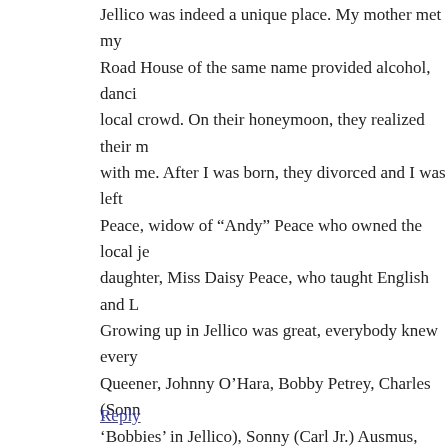Jellico was indeed a unique place. My mother met my Road House of the same name provided alcohol, dancing local crowd. On their honeymoon, they realized their m with me. After I was born, they divorced and I was left Peace, widow of “Andy” Peace who owned the local je daughter, Miss Daisy Peace, who taught English and L Growing up in Jellico was great, everybody knew every Queener, Johnny O’Hara, Bobby Petrey, Charles (Sonn ‘Bobbies’ in Jellico), Sonny (Carl Jr.) Ausmus, Ned Wa Grissom. Carl Stokes was on the fringes since he lived had no television, we spent the summers roaming the m somebody’s house or in our “clubhouse” built on the fo (It is now someone’s residence.) After high school, I jo years at a base outside Casablanca, Morocco and then n Antonio, Texas, working as a Personnel Instructor. I ea University, moved to Los Angeles, learned the restaura restaurants in Houston, Texas until I sold them to retire
Reply